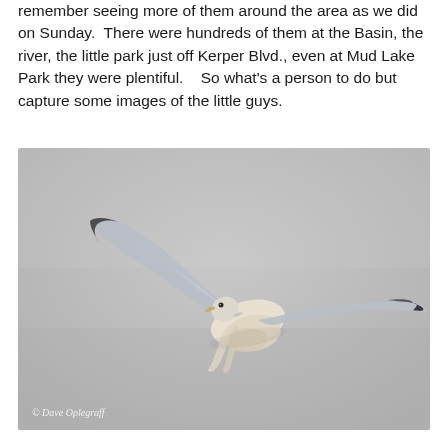remember seeing more of them around the area as we did on Sunday.  There were hundreds of them at the Basin, the river, the little park just off Kerper Blvd., even at Mud Lake Park they were plentiful.   So what's a person to do but capture some images of the little guys.
[Figure (photo): A seagull photographed in flight against a pale grey overcast sky. The bird is viewed from below and slightly to the side, with wings outstretched — one wing angled upward, the other swept back. The bird has white and pale grey plumage with dark wingtips. A watermark reading '© Dave Oplegraff' appears in the lower left corner of the image.]